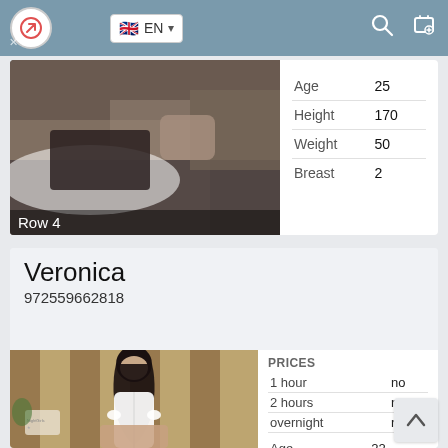EN
Row 4
|  |  |
| --- | --- |
| Age | 25 |
| Height | 170 |
| Weight | 50 |
| Breast | 2 |
Veronica
972559662818
[Figure (photo): Photo of a woman in a white shirt seated in a hotel/lounge setting]
| PRICES |  |
| --- | --- |
| 1 hour | no |
| 2 hours | no |
| overnight | no |
|  |  |
| --- | --- |
| Age | 22 |
| Height | 173 |
| Weight | 53 |
| Breast | 4 |